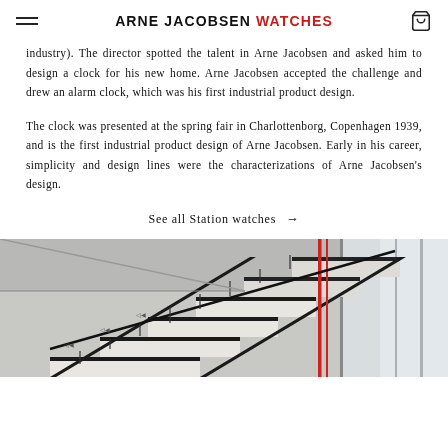ARNE JACOBSEN WATCHES
industry). The director spotted the talent in Arne Jacobsen and asked him to design a clock for his new home. Arne Jacobsen accepted the challenge and drew an alarm clock, which was his first industrial product design.
The clock was presented at the spring fair in Charlottenborg, Copenhagen 1939, and is the first industrial product design of Arne Jacobsen. Early in his career, simplicity and design lines were the characterizations of Arne Jacobsen's design.
See all Station watches →
[Figure (photo): Interior architectural photo showing a modernist staircase with dark metal railings and white steps, a red vertical rod element, and large windows on the right side.]